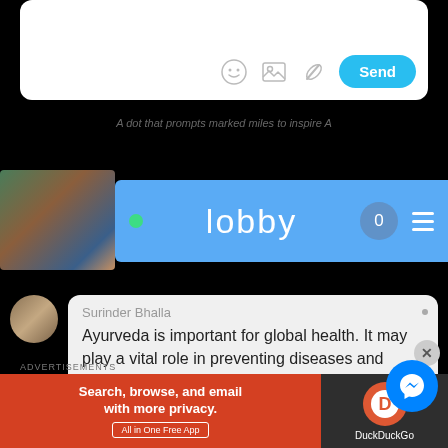[Figure (screenshot): Chat input box with emoji, image, and attachment icons and a blue Send button]
A dot that prompts marked miles to inspire A
[Figure (screenshot): Lobby chat room header bar with avatar, green dot, 'lobby' label, member count badge 0, and hamburger menu]
Surinder Bhalla
Ayurveda is important for global health. It may play a vital role in preventing diseases and making our immunity strong enough to live a healthy life. For details, click on https://maansisurvivalaidfo...
[Figure (screenshot): DuckDuckGo advertisement banner: Search, browse, and email with more privacy. All in One Free App]